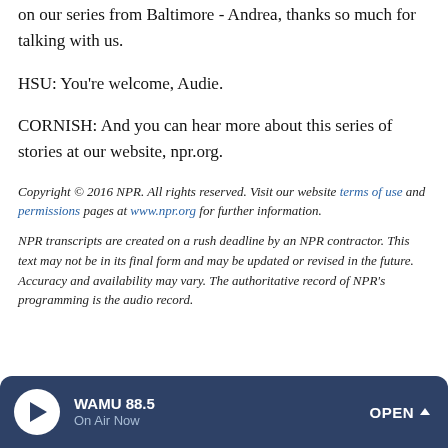on our series from Baltimore - Andrea, thanks so much for talking with us.
HSU: You're welcome, Audie.
CORNISH: And you can hear more about this series of stories at our website, npr.org.
Copyright © 2016 NPR. All rights reserved. Visit our website terms of use and permissions pages at www.npr.org for further information.
NPR transcripts are created on a rush deadline by an NPR contractor. This text may not be in its final form and may be updated or revised in the future. Accuracy and availability may vary. The authoritative record of NPR's programming is the audio record.
WAMU 88.5 On Air Now OPEN